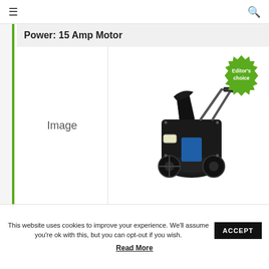☰  🔍
Power: 15 Amp Motor
[Figure (photo): Left column placeholder labeled 'Image']
[Figure (photo): Photo of a black and blue electric snow blower with a green 'Editor's choice' badge in the top right corner]
This website uses cookies to improve your experience. We'll assume you're ok with this, but you can opt-out if you wish.
ACCEPT
Read More